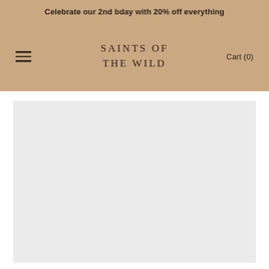Celebrate our 2nd bday with 20% off everything
SAINTS OF THE WILD
Cart (0)
[Figure (other): Light gray product image placeholder rectangle]